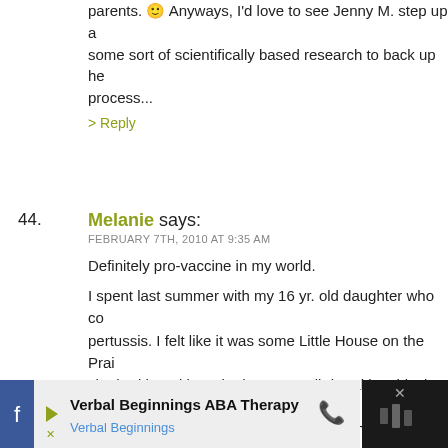parents. :) Anyways, I'd love to see Jenny M. step up and provide some sort of scientifically based research to back up her process...
> Reply
44. Melanie says: FEBRUARY 7TH, 2010 AT 9:35 AM
Definitely pro-vaccine in my world.
I spent last summer with my 16 yr. old daughter who contracted pertussis. I felt like it was some Little House on the Prairie while she had it and it sucked. It was a rib breaking, black eyed, turning blue cough that lasted over 3 months. What if she were a baby? Strong girl that lost a summer...I couldn't imagine a baby with this disease.
Here's the deal; she was vaccinated. What they don't tell you is pertussis is on the rise (partially because of people choosing not to vaccinate – grr) and that you need a booster every 10 years. Now I know yet another fact the hard way.
[Figure (infographic): Advertisement bar at the bottom of the page for Verbal Beginnings ABA Therapy showing logo, name, phone icon, and dark panel with close button]